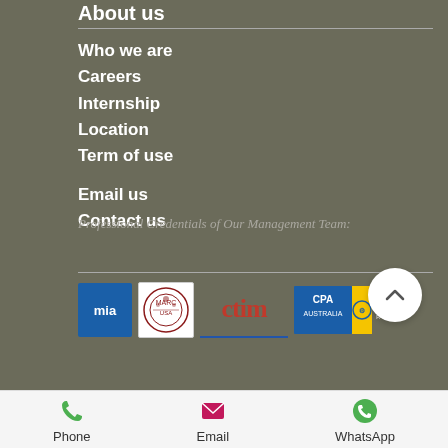About us
Who we are
Careers
Internship
Location
Term of use
Email us
Contact us
Professional Credentials of Our Management Team:
[Figure (logo): Row of professional credential logos: MIA, MARCSA, CTIM, CPA Australia with Recognised Employer Partner badge]
[Figure (other): Scroll-to-top button (chevron up arrow in white circle)]
Phone   Email   WhatsApp